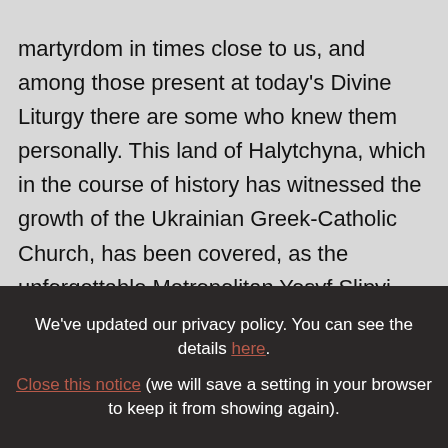martyrdom in times close to us, and among those present at today's Divine Liturgy there are some who knew them personally. This land of Halytchyna, which in the course of history has witnessed the growth of the Ukrainian Greek-Catholic Church, has been covered, as the unforgettable Metropolitan Yosyf Slipyi used to say, "with mountains of corpses and rivers of blood". Yours is a living and fruitful community which
We've updated our privacy policy. You can see the details here. Close this notice (we will save a setting in your browser to keep it from showing again).